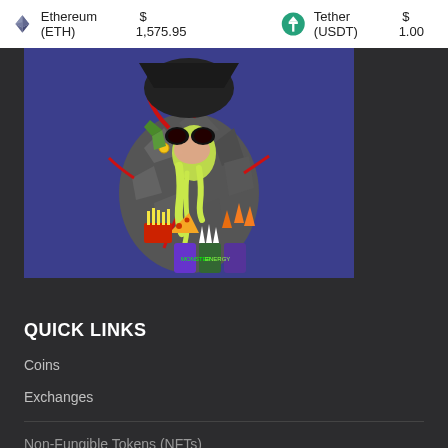Ethereum (ETH)  $1,575.95    Tether (USDT)  $1.00
[Figure (illustration): NFT digital art of a mutant ape-like creature made of stone/rock texture, with dripping slime, pizza, french fries, energy drink cans, and chaotic colors on a blue-purple background]
QUICK LINKS
Coins
Exchanges
Non-Fungible Tokens (NFTs)